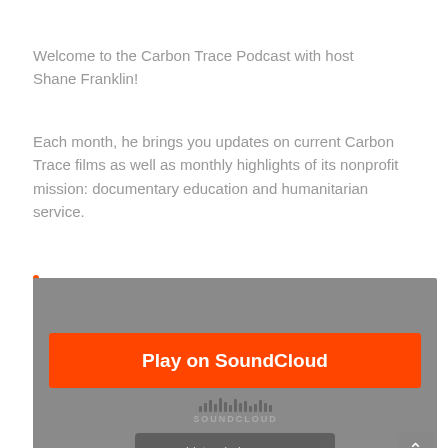Welcome to the Carbon Trace Podcast with host Shane Franklin!
Each month, he brings you updates on current Carbon Trace films as well as monthly highlights of its nonprofit mission: documentary education and humanitarian service.
[Figure (screenshot): SoundCloud embedded player widget with orange 'Play on SoundCloud' button, waveform graphic, SoundCloud logo, and 'Listen in browser' button on a gray background.]